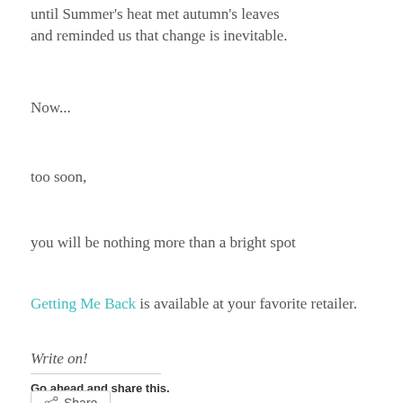until Summer's heat met autumn's leaves and reminded us that change is inevitable.
Now...
too soon,
you will be nothing more than a bright spot
Getting Me Back is available at your favorite retailer.
Write on!
Go ahead and share this.